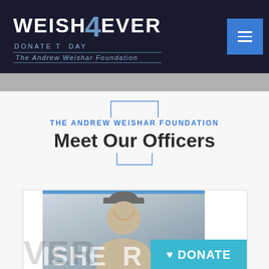[Figure (logo): Weish4Ever - Donate Today - The Andrew Weishar Foundation logo on dark navy background with hamburger menu button in blue]
THE ANDREW WEISHAR FOUNDATION
Meet Our Officers
[Figure (photo): Photo of a smiling young man wearing a Weish4Ever baseball cap, with a blue-striped banner background. A teal DONATE button with heart icon overlays the bottom right.]